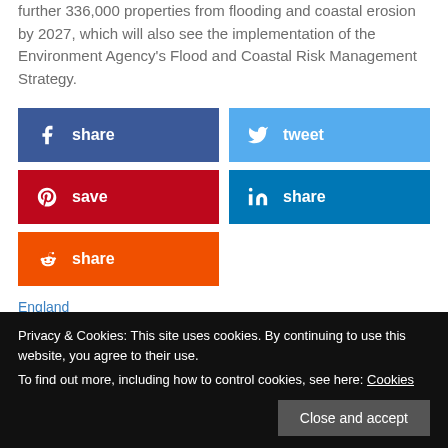further 336,000 properties from flooding and coastal erosion by 2027, which will also see the implementation of the Environment Agency's Flood and Coastal Risk Management Strategy.
[Figure (infographic): Social share buttons: Facebook share (dark blue), Twitter tweet (light blue), Pinterest save (red), LinkedIn share (medium blue), Reddit share (orange)]
England
Privacy & Cookies: This site uses cookies. By continuing to use this website, you agree to their use. To find out more, including how to control cookies, see here: Cookies
Close and accept